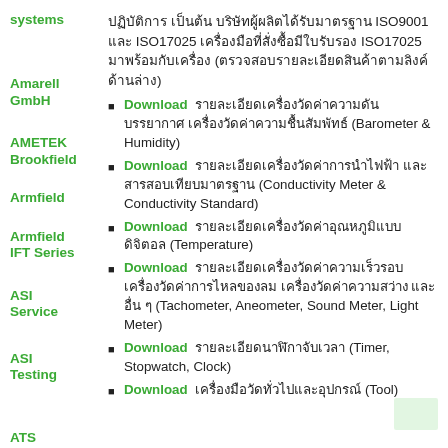systems
Amarell GmbH
AMETEK Brookfield
Armfield
Armfield IFT Series
ASI Service
ASI Testing
ATS
Aqua Measure
ปฏิบัติการ เป็นต้น บริษัทผู้ผลิตได้รับมาตรฐาน ISO9001 และ ISO17025 เครื่องมือที่สั่งซื้อมีใบรับรอง ISO17025 มาพร้อมกับเครื่อง (ตรวจสอบรายละเอียดสินค้าตามลิงค์ด้านล่าง)
Download รายละเอียดเครื่องวัดค่าความดันบรรยากาศ เครื่องวัดค่าความชื้นสัมพัทธ์ (Barometer & Humidity)
Download รายละเอียดเครื่องวัดค่าการนำไฟฟ้า และสารสอบเทียบมาตรฐาน (Conductivity Meter & Conductivity Standard)
Download รายละเอียดเครื่องวัดค่าอุณหภูมิแบบดิจิตอล (Temperature)
Download รายละเอียดเครื่องวัดค่าความเร็วรอบ เครื่องวัดค่าการไหลของลม เครื่องวัดค่าความสว่าง และอื่น ๆ (Tachometer, Aneometer, Sound Meter, Light Meter)
Download รายละเอียดนาฬิกาจับเวลา (Timer, Stopwatch, Clock)
Download เครื่องมือวัดทั่วไปและอุปกรณ์ (Tool)